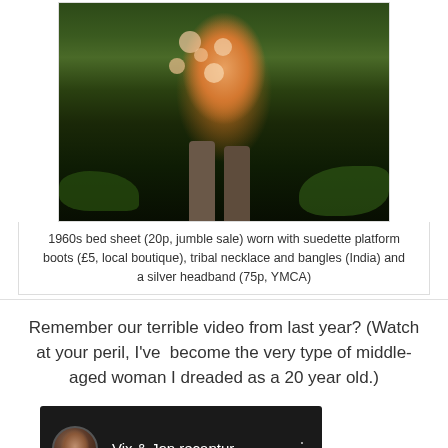[Figure (photo): Person wearing a 1960s floral orange dress (made from a bed sheet) with suedette platform boots, standing in a forest/woodland setting with ferns and leaves in the background]
1960s bed sheet (20p, jumble sale) worn with suedette platform boots (£5, local boutique), tribal necklace and bangles (India) and a silver headband (75p, YMCA)
Remember our terrible video from last year? (Watch at your peril, I've  become the very type of middle-aged woman I dreaded as a 20 year old.)
[Figure (screenshot): Video thumbnail showing a woman's avatar/profile picture and the title 'Vix & Jon recaptur...' with a menu icon (three dots)]